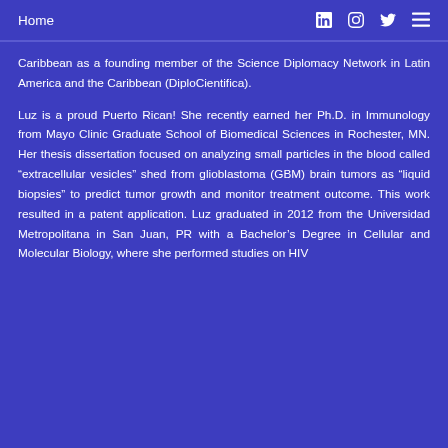Home  [LinkedIn icon] [Instagram icon] [Twitter icon] [Menu icon]
Caribbean as a founding member of the Science Diplomacy Network in Latin America and the Caribbean (DiploCientifica).
Luz is a proud Puerto Rican! She recently earned her Ph.D. in Immunology from Mayo Clinic Graduate School of Biomedical Sciences in Rochester, MN. Her thesis dissertation focused on analyzing small particles in the blood called “extracellular vesicles” shed from glioblastoma (GBM) brain tumors as “liquid biopsies” to predict tumor growth and monitor treatment outcome. This work resulted in a patent application. Luz graduated in 2012 from the Universidad Metropolitana in San Juan, PR with a Bachelor’s Degree in Cellular and Molecular Biology, where she performed studies on HIV